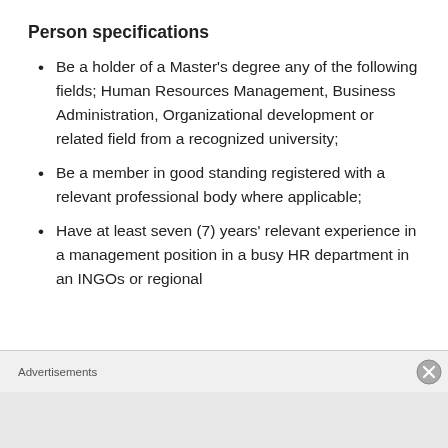Person specifications
Be a holder of a Master's degree any of the following fields; Human Resources Management, Business Administration, Organizational development or related field from a recognized university;
Be a member in good standing registered with a relevant professional body where applicable;
Have at least seven (7) years' relevant experience in a management position in a busy HR department in an INGOs or regional
Advertisements